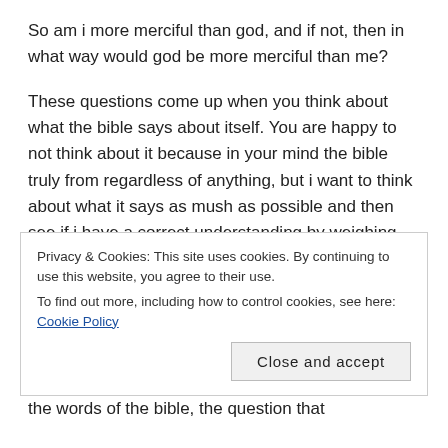So am i more merciful than god, and if not, then in what way would god be more merciful than me?
These questions come up when you think about what the bible says about itself. You are happy to not think about it because in your mind the bible truly from regardless of anything, but i want to think about what it says as mush as possible and then see if i have a correct understanding by weighing the options
Privacy & Cookies: This site uses cookies. By continuing to use this website, you agree to their use.
To find out more, including how to control cookies, see here: Cookie Policy
Close and accept
the words of the bible, the question that